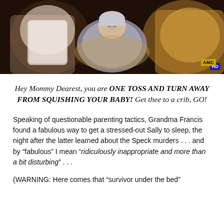[Figure (photo): A newborn baby swaddled in a gray blanket lying between two adults in bed, with an AMC HD watermark in the lower right corner.]
Hey Mommy Dearest, you are ONE TOSS AND TURN AWAY FROM SQUISHING YOUR BABY!  Get thee to a crib, GO!
Speaking of questionable parenting tactics, Grandma Francis found a fabulous way to get a stressed-out Sally to sleep, the night after the latter learned about the Speck murders . . . and by “fabulous” I mean “ridiculously inappropriate and more than a bit disturbing” . . .
(WARNING: Here comes that “survivor under the bed”